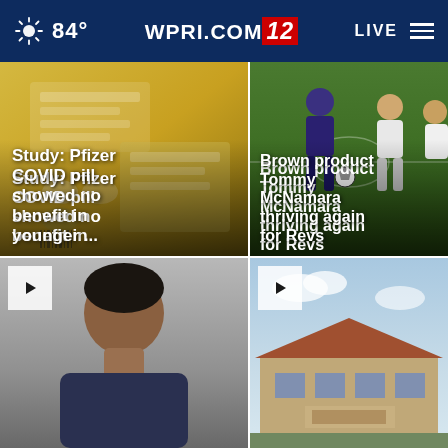84° WPRI.COM/12 LIVE
[Figure (photo): Close-up of Paxlovid COVID medication packaging with pills visible]
Study: Pfizer COVID pill showed no benefit in younger ...
[Figure (photo): Soccer players on a field, Brown product Tommy McNamara playing for Revs]
Brown product Tommy McNamara thriving again for Revs
[Figure (photo): Video thumbnail of a person, face visible, news story with play button]
[Figure (photo): Video thumbnail of a building exterior, news story with play button]